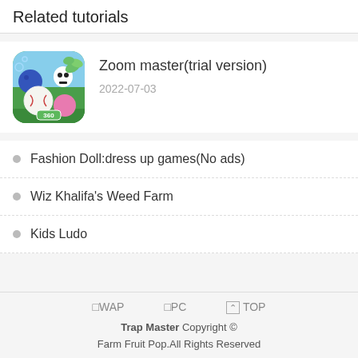Related tutorials
[Figure (screenshot): App icon for a game showing bowling ball, baseball, pink ball, and skull character on green background with '360' label]
Zoom master(trial version)
2022-07-03
Fashion Doll:dress up games(No ads)
Wiz Khalifa's Weed Farm
Kids Ludo
WAP  PC  TOP
Trap Master Copyright © Farm Fruit Pop.All Rights Reserved